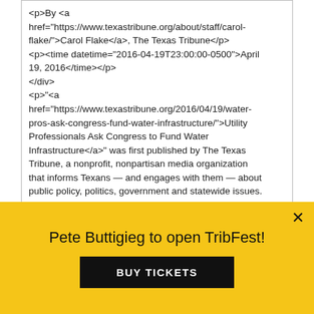<p>By <a href="https://www.texastribune.org/about/staff/carol-flake/">Carol Flake</a>, The Texas Tribune</p>
<p><time datetime="2016-04-19T23:00:00-0500">April 19, 2016</time></p>
</div>
<p>"<a href="https://www.texastribune.org/2016/04/19/water-pros-ask-congress-fund-water-infrastructure/">Utility Professionals Ask Congress to Fund Water Infrastructure</a>" was first published by The Texas Tribune, a nonprofit, nonpartisan media organization that informs Texans — and engages with them — about public policy, politics, government and statewide issues.</p>
<p>Water utility professionals visited with members of Congress to ask for <a href="http://www.wateronline.com/doc/water-
You're welcome to republish our articles and graphics for free using the following ground rules...
Pete Buttigieg to open TribFest!
BUY TICKETS